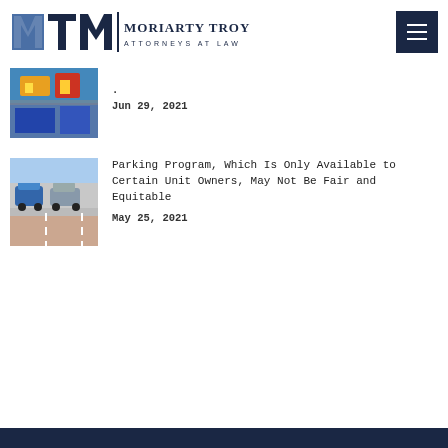Moriarty Troyer & Malloy LLC — Attorneys at Law
[Figure (photo): Thumbnail image of colorful street/festival scene]
Jun 29, 2021
[Figure (photo): Thumbnail image of cars parked in a parking lot]
Parking Program, Which Is Only Available to Certain Unit Owners, May Not Be Fair and Equitable
May 25, 2021